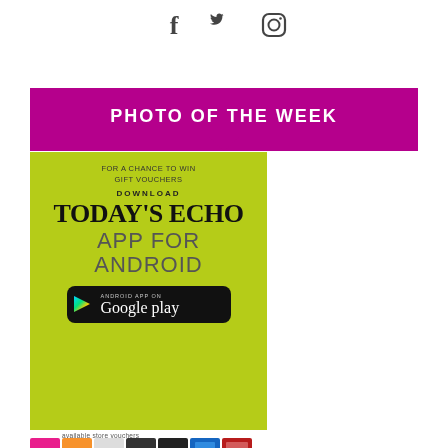[Figure (illustration): Social media icons: Facebook, Twitter, Instagram]
PHOTO OF THE WEEK
[Figure (illustration): Advertisement: Download Today's Echo App for Android on Google Play. For a chance to win gift vouchers. Green background with Google Play badge.]
available store vouchers
[Figure (illustration): Row of colourful store voucher thumbnail images]